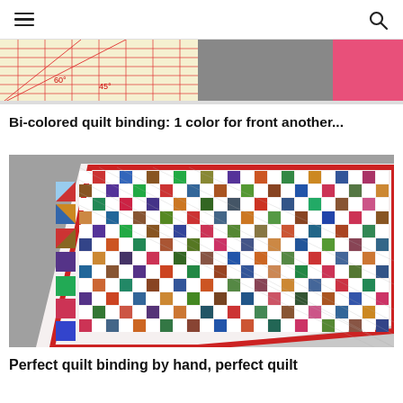≡  🔍
[Figure (photo): Partial top image showing a quilting ruler with angle measurements (60°, 45°) on grey and pink fabric background]
Bi-colored quilt binding: 1 color for front another...
[Figure (photo): Colorful patchwork quilt laid flat on grey floor, featuring a pattern of multicolored squares and pinwheel blocks with a red binding border]
Perfect quilt binding by hand, perfect quilt